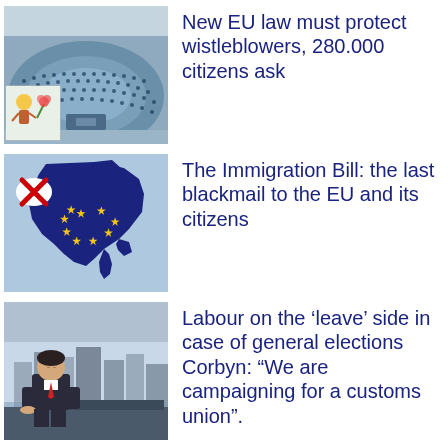[Figure (photo): European Parliament chamber interior with inset illustration of person]
New EU law must protect wistleblowers, 280.000 citizens ask
[Figure (illustration): Map of Europe in dark blue with EU stars and a red X cross on UK area]
The Immigration Bill: the last blackmail to the EU and its citizens
[Figure (photo): News studio with presenter sitting at desk]
Labour on the ‘leave’ side in case of general elections Corbyn: “We are campaigning for a customs union”.